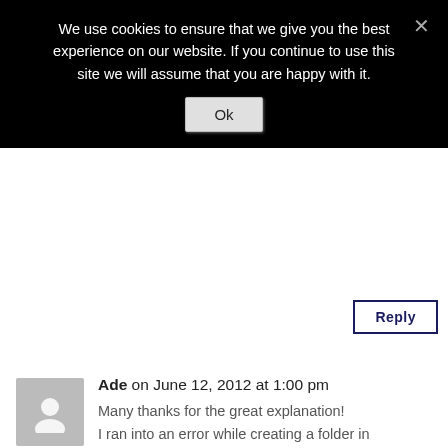We use cookies to ensure that we give you the best experience on our website. If you continue to use this site we will assume that you are happy with it.
Ok
Reply
Ade on June 12, 2012 at 1:00 pm
Many thanks for the great explanation!
I ran into an error while creating a folder in SharePoint, not sure if you've come across such issue before.
"CmisRuntimeException: Internal Server Error"

Any help will be greatly appreciated.

Thanks!